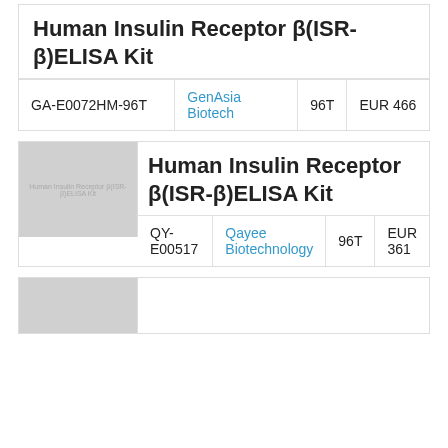Human Insulin Receptor β(ISR-β)ELISA Kit
|  |  |  |  |
| --- | --- | --- | --- |
| GA-E0072HM-96T | GenAsia Biotech | 96T | EUR 466 |
[Figure (photo): Thumbnail image placeholder for Human Insulin Receptor β(ISR-β)ELISA Kit product]
Human Insulin Receptor β(ISR-β)ELISA Kit
|  |  |  |  |
| --- | --- | --- | --- |
| QY-E00517 | Qayee Biotechnology | 96T | EUR 361 |
[Figure (photo): Thumbnail image placeholder for another Human Insulin Receptor β(ISR-β)ELISA Kit product]